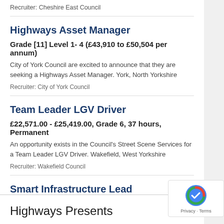Recruiter: Cheshire East Council
Highways Asset Manager
Grade [11] Level 1- 4 (£43,910 to £50,504 per annum)
City of York Council are excited to announce that they are seeking a Highways Asset Manager. York, North Yorkshire
Recruiter: City of York Council
Team Leader LGV Driver
£22,571.00 - £25,419.00, Grade 6, 37 hours, Permanent
An opportunity exists in the Council's Street Scene Services for a Team Leader LGV Driver. Wakefield, West Yorkshire
Recruiter: Wakefield Council
Smart Infrastructure Lead
£39,571 - £50,733 per annum
Highways Presents